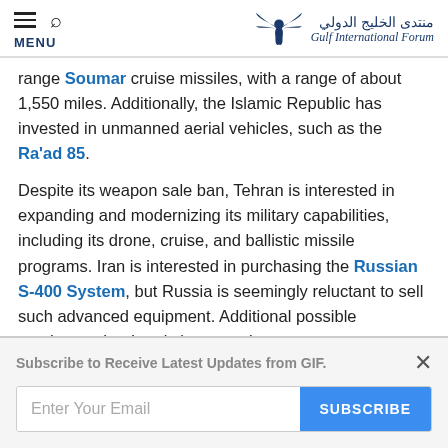MENU | Gulf International Forum
range Soumar cruise missiles, with a range of about 1,550 miles. Additionally, the Islamic Republic has invested in unmanned aerial vehicles, such as the Ra'ad 85.
Despite its weapon sale ban, Tehran is interested in expanding and modernizing its military capabilities, including its drone, cruise, and ballistic missile programs. Iran is interested in purchasing the Russian S-400 System, but Russia is seemingly reluctant to sell such advanced equipment. Additional possible purchases that Iran is interested
Subscribe to Receive Latest Updates from GIF.